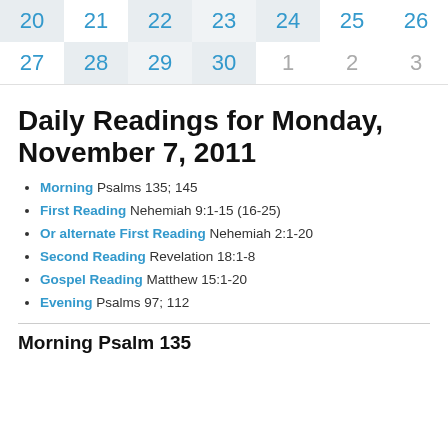| 20 | 21 | 22 | 23 | 24 | 25 | 26 |
| --- | --- | --- | --- | --- | --- | --- |
| 27 | 28 | 29 | 30 | 1 | 2 | 3 |
Daily Readings for Monday, November 7, 2011
Morning Psalms 135; 145
First Reading Nehemiah 9:1-15 (16-25)
Or alternate First Reading Nehemiah 2:1-20
Second Reading Revelation 18:1-8
Gospel Reading Matthew 15:1-20
Evening Psalms 97; 112
Morning Psalm 135